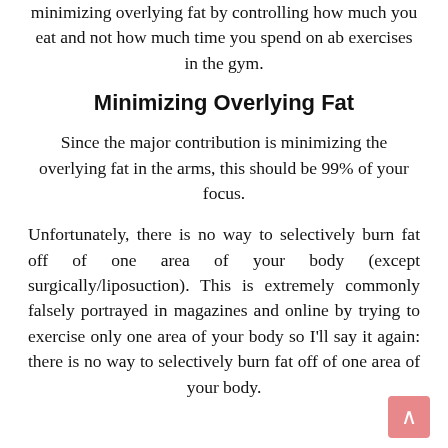in the fact that having ab definition is mostly about minimizing overlying fat by controlling how much you eat and not how much time you spend on ab exercises in the gym.
Minimizing Overlying Fat
Since the major contribution is minimizing the overlying fat in the arms, this should be 99% of your focus.
Unfortunately, there is no way to selectively burn fat off of one area of your body (except surgically/liposuction). This is extremely commonly falsely portrayed in magazines and online by trying to exercise only one area of your body so I'll say it again: there is no way to selectively burn fat off of one area of your body.